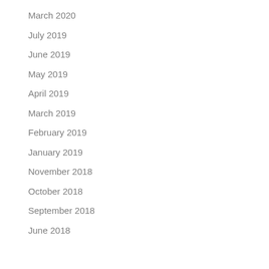March 2020
July 2019
June 2019
May 2019
April 2019
March 2019
February 2019
January 2019
November 2018
October 2018
September 2018
June 2018